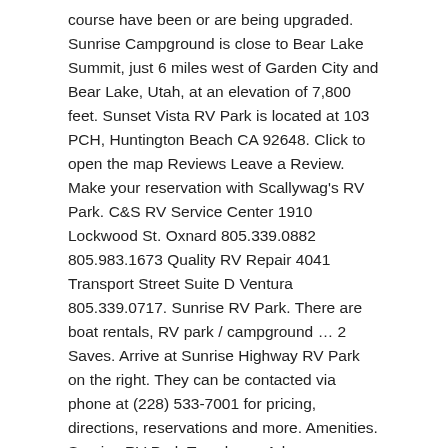course have been or are being upgraded. Sunrise Campground is close to Bear Lake Summit, just 6 miles west of Garden City and Bear Lake, Utah, at an elevation of 7,800 feet. Sunset Vista RV Park is located at 103 PCH, Huntington Beach CA 92648. Click to open the map Reviews Leave a Review. Make your reservation with Scallywag's RV Park. C&S RV Service Center 1910 Lockwood St. Oxnard 805.339.0882 805.983.1673 Quality RV Repair 4041 Transport Street Suite D Ventura 805.339.0717. Sunrise RV Park. There are boat rentals, RV park / campground … 2 Saves. Arrive at Sunrise Highway RV Park on the right. They can be contacted via phone at (228) 533-7001 for pricing, directions, reservations and more. Amenities. Sunrise RV Park,Texarkana, Arkansas. Oxnard. Click on the name of any RV park or campground for more information. 1 review of Sunrise RV Park And